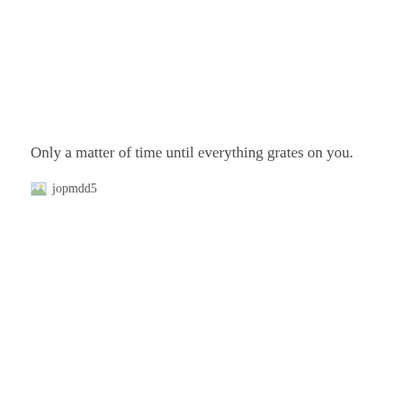Only a matter of time until everything grates on you.
[Figure (other): Broken image placeholder with filename jopmdd5]